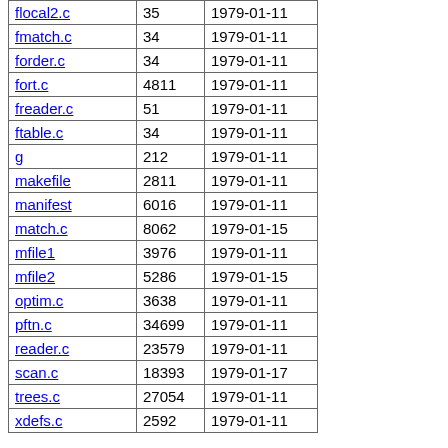| Name | Size | Date |
| --- | --- | --- |
| flocal2.c | 35 | 1979-01-11 |
| fmatch.c | 34 | 1979-01-11 |
| forder.c | 34 | 1979-01-11 |
| fort.c | 4811 | 1979-01-11 |
| freader.c | 51 | 1979-01-11 |
| ftable.c | 34 | 1979-01-11 |
| g | 212 | 1979-01-11 |
| makefile | 2811 | 1979-01-11 |
| manifest | 6016 | 1979-01-11 |
| match.c | 8062 | 1979-01-15 |
| mfile1 | 3976 | 1979-01-11 |
| mfile2 | 5286 | 1979-01-15 |
| optim.c | 3638 | 1979-01-11 |
| pftn.c | 34699 | 1979-01-11 |
| reader.c | 23579 | 1979-01-11 |
| scan.c | 18393 | 1979-01-17 |
| trees.c | 27054 | 1979-01-11 |
| xdefs.c | 2592 | 1979-01-11 |